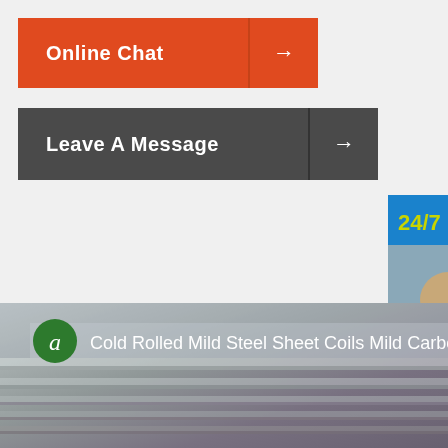[Figure (screenshot): Orange 'Online Chat' button with right arrow]
[Figure (screenshot): Dark gray 'Leave A Message' button with right arrow]
[Figure (infographic): 24/7 hour support chat widget with customer service photo and blue icon buttons (headset, phone, Skype) and 'Click to chat' bar]
[Figure (photo): Cold Rolled Mild Steel Sheet Coils Mild Carbon product photo with green 'a' circle label]